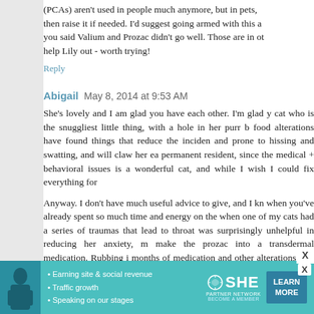(PCAs) aren't used in people much anymore, but in pets, then raise it if needed. I'd suggest going armed with this a you said Valium and Prozac didn't go well. Those are in ot help Lily out - worth trying!
Reply
Abigail  May 8, 2014 at 9:53 AM
She's lovely and I am glad you have each other. I'm glad y cat who is the snuggliest little thing, with a hole in her purr b food alterations have found things that reduce the inciden and prone to hissing and swatting, and will claw her ea permanent resident, since the medical + behavioral issues is a wonderful cat, and while I wish I could fix everything for
Anyway. I don't have much useful advice to give, and I kr when you've already spent so much time and energy on the when one of my cats had a series of traumas that lead to throat was surprisingly unhelpful in reducing her anxiety, m make the prozac into a transdermal medication. Rubbing i months of medication and other alterations, she was feeling prozac helped, but the delivery method was the failure poin
You know your girl best, so I'm sure you're doing everyting compassion. Whatever you do will be fine. We are nor
[Figure (infographic): SHE Partner Network advertisement banner with woman photo, bullet points about earning site & social revenue, traffic growth, speaking on stages, and a LEARN MORE button]